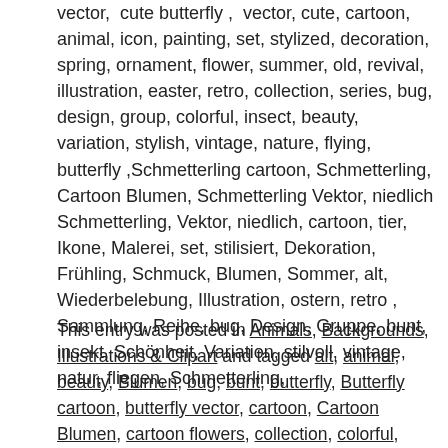vector, cute butterfly , vector, cute, cartoon, animal, icon, painting, set, stylized, decoration, spring, ornament, flower, summer, old, revival, illustration, easter, retro, collection, series, bug, design, group, colorful, insect, beauty, variation, stylish, vintage, nature, flying, butterfly ,Schmetterling cartoon, Schmetterling, Cartoon Blumen, Schmetterling Vektor, niedlich Schmetterling, Vektor, niedlich, cartoon, tier, Ikone, Malerei, set, stilisiert, Dekoration, Frühling, Schmuck, Blumen, Sommer, alt, Wiederbelebung, Illustration, ostern, retro , Sammlung, Reihe, bug, Design, Gruppe, bunt, insekt, Schönheit, Variation, stilvoll, vintage, natur, fliegen, Schmetterling,
This entry was posted in Animals, Backgrounds, Illustrations & Clipart and tagged alt, animal, beauty, Blumen, bug, bunt, butterfly, Butterfly cartoon, butterfly vector, cartoon, Cartoon Blumen, cartoon flowers, collection, colorful, cute, decoration, Dekoration, design, easter, Fliegen, flower, flying, Frühling, group, Gruppe, icon, Ikone, illustration, insect, insekt, Malerei, natur,